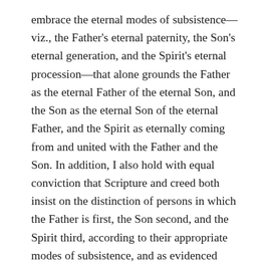embrace the eternal modes of subsistence—viz., the Father's eternal paternity, the Son's eternal generation, and the Spirit's eternal procession—that alone grounds the Father as the eternal Father of the eternal Son, and the Son as the eternal Son of the eternal Father, and the Spirit as eternally coming from and united with the Father and the Son. In addition, I also hold with equal conviction that Scripture and creed both insist on the distinction of persons in which the Father is first, the Son second, and the Spirit third, according to their appropriate modes of subsistence, and as evidenced then by the fitting ways in which they relate to one another and work in the world as displayed repeatedly in Scripture. Both full equality of nature and distinction of persons are necessary to uphold rightly the doctrine of the Trinity, and I affirm both with great joy and conviction.